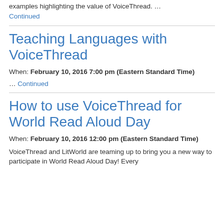examples highlighting the value of VoiceThread. …
Continued
Teaching Languages with VoiceThread
When: February 10, 2016 7:00 pm (Eastern Standard Time)
… Continued
How to use VoiceThread for World Read Aloud Day
When: February 10, 2016 12:00 pm (Eastern Standard Time)
VoiceThread and LitWorld are teaming up to bring you a new way to participate in World Read Aloud Day! Every